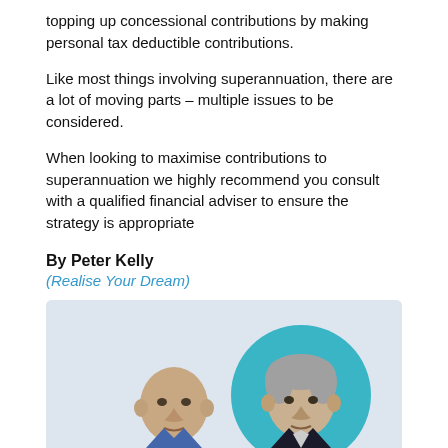topping up concessional contributions by making personal tax deductible contributions.
Like most things involving superannuation, there are a lot of moving parts – multiple issues to be considered.
When looking to maximise contributions to superannuation we highly recommend you consult with a qualified financial adviser to ensure the strategy is appropriate
By Peter Kelly
(Realise Your Dream)
[Figure (photo): Two men photographed from shoulders up against a light grey background. The man on the left is bald. The man on the right is inside a teal circular frame.]